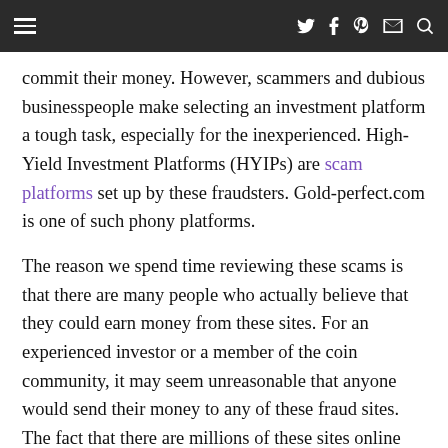Navigation bar with hamburger menu and social icons (Twitter, Facebook, Pinterest, Mail, Search)
commit their money. However, scammers and dubious businesspeople make selecting an investment platform a tough task, especially for the inexperienced. High-Yield Investment Platforms (HYIPs) are scam platforms set up by these fraudsters. Gold-perfect.com is one of such phony platforms.
The reason we spend time reviewing these scams is that there are many people who actually believe that they could earn money from these sites. For an experienced investor or a member of the coin community, it may seem unreasonable that anyone would send their money to any of these fraud sites. The fact that there are millions of these sites online should tell you that people fall for these tricks.
What is Gold Perfect?